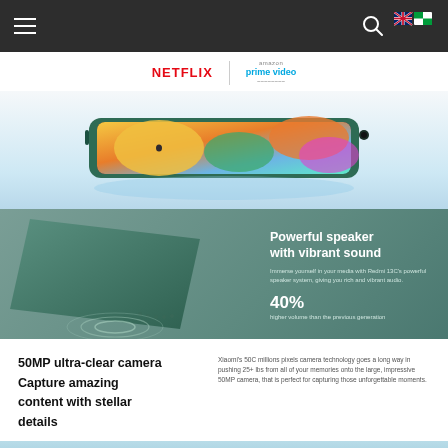Navigation bar with hamburger menu, search icon, and flag icons
[Figure (logo): NETFLIX logo and Amazon Prime Video logo with divider]
[Figure (photo): Smartphone shown horizontally with colorful wallpaper display, green body, on gradient blue background]
[Figure (photo): Close-up of green smartphone back panel with speaker grille and sound wave ripple effect on teal background]
Powerful speaker with vibrant sound
Immerse yourself in your media with Redmi 13C's powerful speaker system, giving you rich and vibrant audio.
40%
higher volume than the previous generation
50MP ultra-clear camera Capture amazing content with stellar details
Xiaomi's 50C million pixels camera technology goes a long way in pushing 25+ lbs from all of your memories onto the large, impressive 50MP camera, that is perfect for capturing those unforgettable moments.
[Figure (photo): Bottom portion of smartphone with blue gradient background, camera module visible]